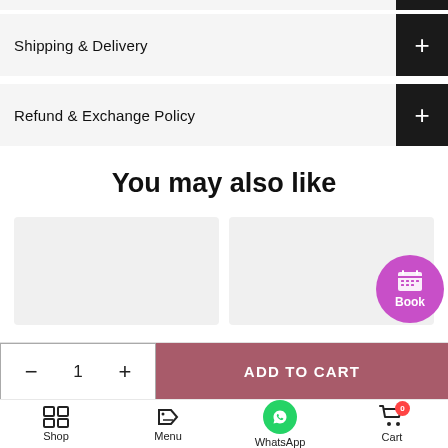Shipping & Delivery
Refund & Exchange Policy
You may also like
[Figure (other): Two product placeholder cards shown side by side. The right card has a purple circular badge with a calendar icon and the text 'Book'.]
- 1 + ADD TO CART
Shop  Menu  WhatsApp  Cart